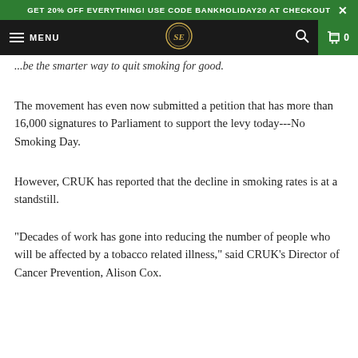GET 20% OFF EVERYTHING! USE CODE BANKHOLIDAY20 AT CHECKOUT
MENU [SE logo] [search] [cart] 0
...be the smarter way to quit smoking for good.
The movement has even now submitted a petition that has more than 16,000 signatures to Parliament to support the levy today---No Smoking Day.
However, CRUK has reported that the decline in smoking rates is at a standstill.
"Decades of work has gone into reducing the number of people who will be affected by a tobacco related illness," said CRUK's Director of Cancer Prevention, Alison Cox.